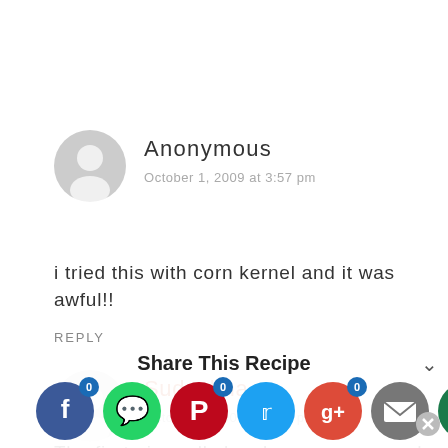Anonymous
October 1, 2009 at 3:57 pm
i tried this with corn kernel and it was awful!!
REPLY
Sudeshna
October 1, 2009 at 2:35 pm
The first pic really loooks awesome, and without even tasting it, I know it has to be
[Figure (infographic): Share This Recipe social media share bar with Facebook, WhatsApp, Pinterest, Twitter, Google+, Email, and Print icons, each with a count badge of 0]